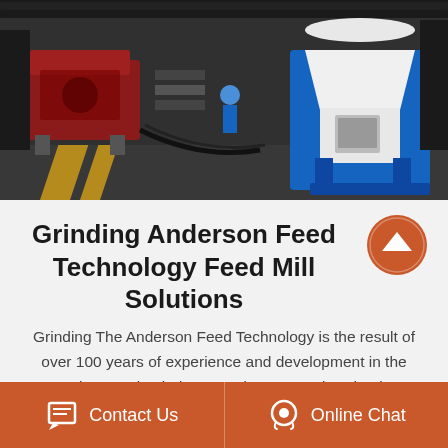[Figure (photo): Industrial factory floor with heavy machinery including red and blue equipment, a white conical crusher/mill machine on blue legs, and a worker in blue clothing visible in background]
Grinding Anderson Feed Technology Feed Mill Solutions
Grinding The Anderson Feed Technology is the result of over 100 years of experience and development in the cerealprocessing industry Anderson Feed Technology hammer mills are supremely suited for the milling of products with a fibrous structure and a low density for example dried...
Contact Us   Online Chat